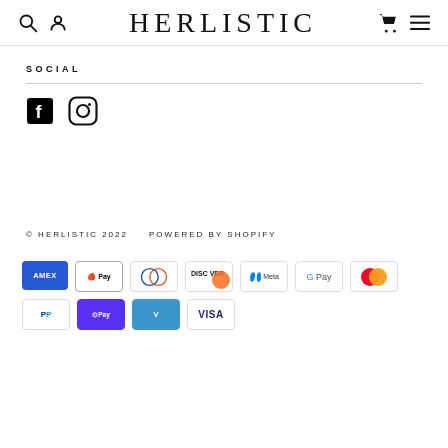HERLISTIC
SOCIAL
[Figure (other): Facebook and Instagram social media icons]
© HERLISTIC 2022   POWERED BY SHOPIFY
[Figure (other): Payment method icons: American Express, Apple Pay, Diners Club, Discover, Meta Pay, Google Pay, Mastercard, PayPal, Shop Pay, Venmo, Visa]